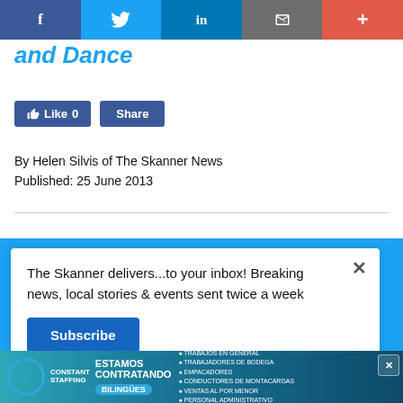Social share bar: Facebook, Twitter, LinkedIn, Email, More
and Dance
[Figure (screenshot): Facebook Like button showing Like 0 and Share button]
By Helen Silvis of The Skanner News
Published: 25 June 2013
The Skanner delivers...to your inbox! Breaking news, local stories & events sent twice a week
[Figure (infographic): Constant Staffing advertisement - ESTAMOS CONTRATANDO - BILINGUES - 713-714-8909]